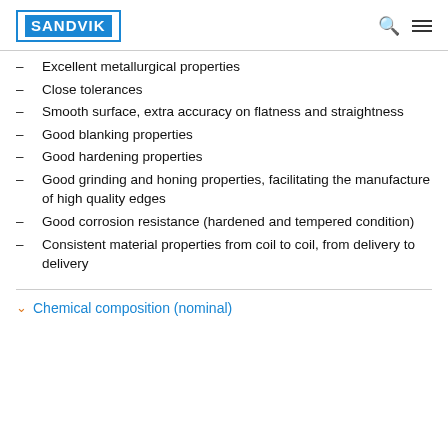SANDVIK
Excellent metallurgical properties
Close tolerances
Smooth surface, extra accuracy on flatness and straightness
Good blanking properties
Good hardening properties
Good grinding and honing properties, facilitating the manufacture of high quality edges
Good corrosion resistance (hardened and tempered condition)
Consistent material properties from coil to coil, from delivery to delivery
Chemical composition (nominal)